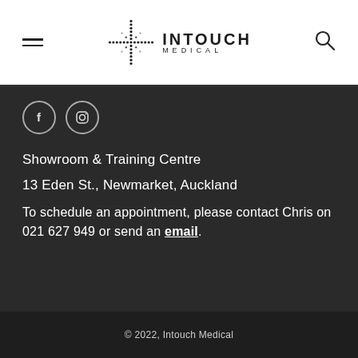[Figure (logo): Intouch Medical logo with cross/plus symbol made of dots and the text INTOUCH MEDICAL]
Showroom & Training Centre
13 Eden St., Newmarket, Auckland
To schedule an appointment, please contact Chris on 021 627 949 or send an email.
© 2022, Intouch Medical